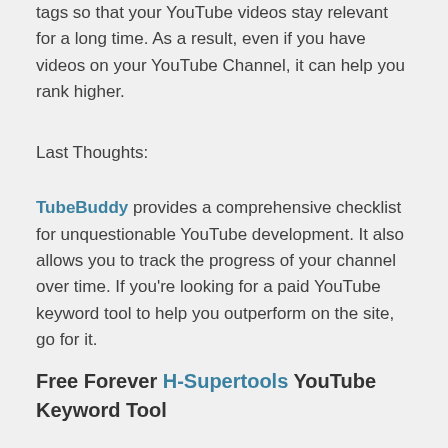tags so that your YouTube videos stay relevant for a long time. As a result, even if you have videos on your YouTube Channel, it can help you rank higher.
Last Thoughts:
TubeBuddy provides a comprehensive checklist for unquestionable YouTube development. It also allows you to track the progress of your channel over time. If you're looking for a paid YouTube keyword tool to help you outperform on the site, go for it.
Free Forever H-Supertools YouTube Keyword Tool